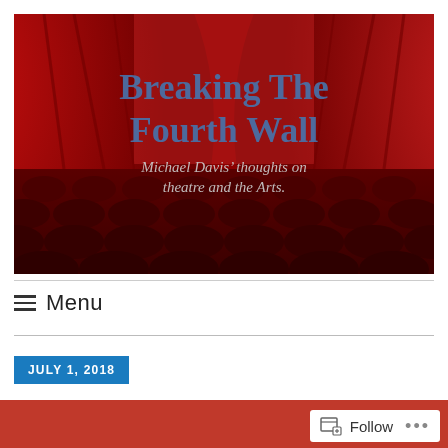[Figure (photo): Theatre header banner showing red curtains at top and rows of dark red seats below, with blog title 'Breaking The Fourth Wall' in blue serif text and subtitle 'Michael Davis' thoughts on theatre and the Arts.' in italic gray text overlaid on the image.]
Menu
JULY 1, 2018